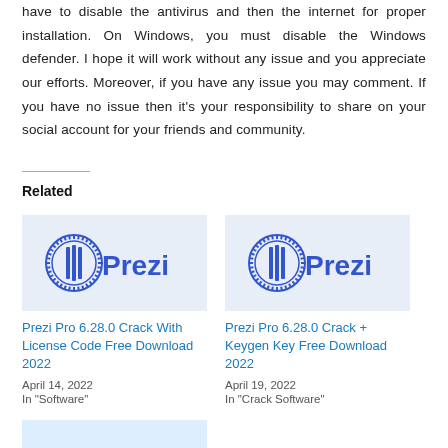have to disable the antivirus and then the internet for proper installation. On Windows, you must disable the Windows defender. I hope it will work without any issue and you appreciate our efforts. Moreover, if you have any issue you may comment. If you have no issue then it's your responsibility to share on your social account for your friends and community.
Related
[Figure (logo): Prezi logo — circular icon with vertical bars and radial dashes, blue color, with 'Prezi' text in blue to the right]
Prezi Pro 6.28.0 Crack With License Code Free Download 2022
April 14, 2022
In "Software"
[Figure (logo): Prezi logo — circular icon with vertical bars and radial dashes, blue color, with 'Prezi' text in blue to the right]
Prezi Pro 6.28.0 Crack + Keygen Key Free Download 2022
April 19, 2022
In "Crack Software"